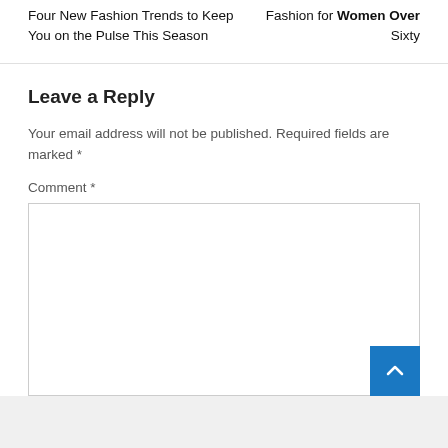Four New Fashion Trends to Keep You on the Pulse This Season
Fashion for Women Over Sixty
Leave a Reply
Your email address will not be published. Required fields are marked *
Comment *